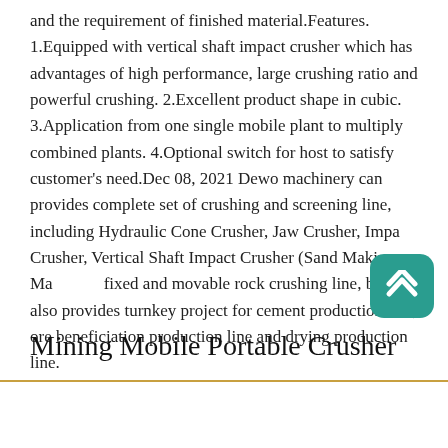and the requirement of finished material.Features. 1.Equipped with vertical shaft impact crusher which has advantages of high performance, large crushing ratio and powerful crushing. 2.Excellent product shape in cubic. 3.Application from one single mobile plant to multiply combined plants. 4.Optional switch for host to satisfy customer's need.Dec 08, 2021 Dewo machinery can provides complete set of crushing and screening line, including Hydraulic Cone Crusher, Jaw Crusher, Impact Crusher, Vertical Shaft Impact Crusher (Sand Making Machine), fixed and movable rock crushing line, but also provides turnkey project for cement production line, ore beneficiation production line and drying production line.
[Figure (other): Scroll-to-top button: teal rounded square with white upward chevron icon]
Mining Mobile Portable Crusher
Send Message | Free Consultation